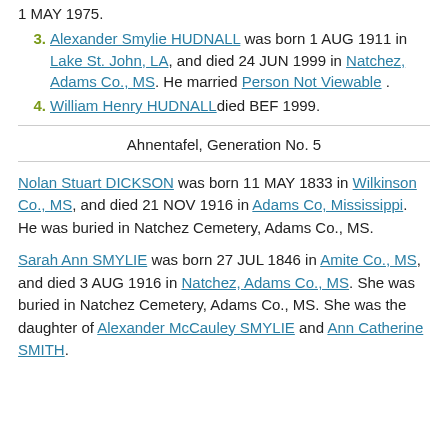1 MAY 1975.
3. Alexander Smylie HUDNALL was born 1 AUG 1911 in Lake St. John, LA, and died 24 JUN 1999 in Natchez, Adams Co., MS. He married Person Not Viewable .
4. William Henry HUDNALLdied BEF 1999.
Ahnentafel, Generation No. 5
Nolan Stuart DICKSON was born 11 MAY 1833 in Wilkinson Co., MS, and died 21 NOV 1916 in Adams Co, Mississippi. He was buried in Natchez Cemetery, Adams Co., MS.
Sarah Ann SMYLIE was born 27 JUL 1846 in Amite Co., MS, and died 3 AUG 1916 in Natchez, Adams Co., MS. She was buried in Natchez Cemetery, Adams Co., MS. She was the daughter of Alexander McCauley SMYLIE and Ann Catherine SMITH.